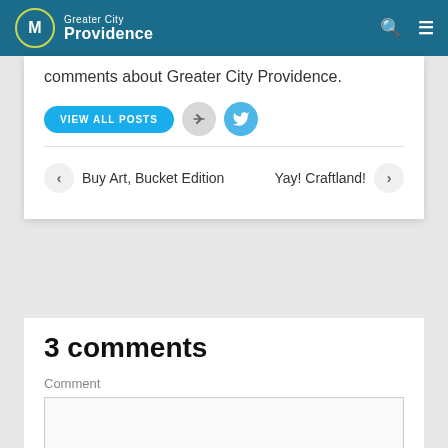Greater City Providence
comments about Greater City Providence.
VIEW ALL POSTS
Buy Art, Bucket Edition
Yay! Craftland!
3 comments
Comment